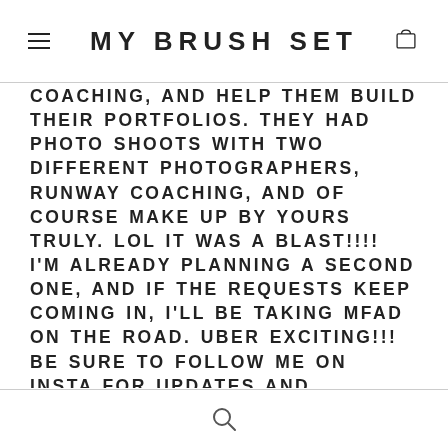MY BRUSH SET
COACHING, AND HELP THEM BUILD THEIR PORTFOLIOS. THEY HAD PHOTO SHOOTS WITH TWO DIFFERENT PHOTOGRAPHERS, RUNWAY COACHING, AND OF COURSE MAKE UP BY YOURS TRULY. LOL IT WAS A BLAST!!!! I'M ALREADY PLANNING A SECOND ONE, AND IF THE REQUESTS KEEP COMING IN, I'LL BE TAKING MFAD ON THE ROAD. UBER EXCITING!!! BE SURE TO FOLLOW ME ON INSTA FOR UPDATES AND HIGHLIGHTS FROM MY EVENTS. FOLLOW ME: INSTAGRAM.COM/QUEENOFTHEGLAMMED_MUA. BUT OK, ENOUGH ABOUT ME LOL, BACK TO THE TOPIC